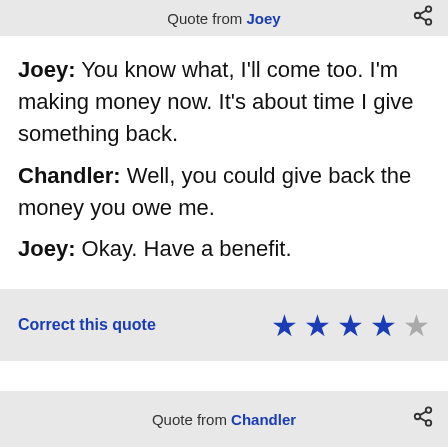Quote from Joey
Joey: You know what, I'll come too. I'm making money now. It's about time I give something back.
Chandler: Well, you could give back the money you owe me.
Joey: Okay. Have a benefit.
Correct this quote
Quote from Chandler